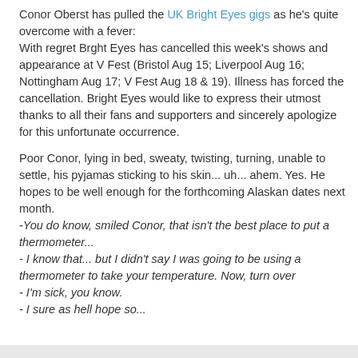Conor Oberst has pulled the UK Bright Eyes gigs as he's quite overcome with a fever: With regret Brght Eyes has cancelled this week's shows and appearance at V Fest (Bristol Aug 15; Liverpool Aug 16; Nottingham Aug 17; V Fest Aug 18 & 19). Illness has forced the cancellation. Bright Eyes would like to express their utmost thanks to all their fans and supporters and sincerely apologize for this unfortunate occurrence.
Poor Conor, lying in bed, sweaty, twisting, turning, unable to settle, his pyjamas sticking to his skin... uh... ahem. Yes. He hopes to be well enough for the forthcoming Alaskan dates next month.
-You do know, smiled Conor, that isn't the best place to put a thermometer...
- I know that... but I didn't say I was going to be using a thermometer to take your temperature. Now, turn over
- I'm sick, you know.
- I sure as hell hope so...